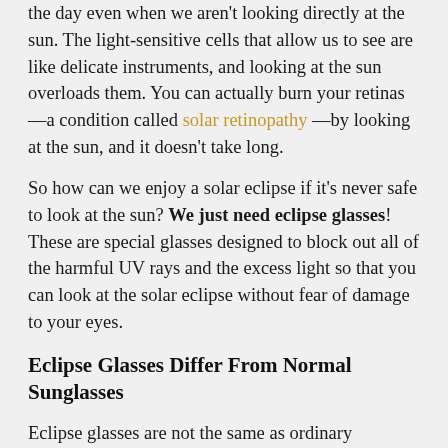the day even when we aren't looking directly at the sun. The light-sensitive cells that allow us to see are like delicate instruments, and looking at the sun overloads them. You can actually burn your retinas—a condition called solar retinopathy—by looking at the sun, and it doesn't take long.
So how can we enjoy a solar eclipse if it's never safe to look at the sun? We just need eclipse glasses! These are special glasses designed to block out all of the harmful UV rays and the excess light so that you can look at the solar eclipse without fear of damage to your eyes.
Eclipse Glasses Differ From Normal Sunglasses
Eclipse glasses are not the same as ordinary sunglasses, and even the very best polarized UV-blocking sunglasses are not sufficient protection for looking at the sun directly during a solar eclipse.